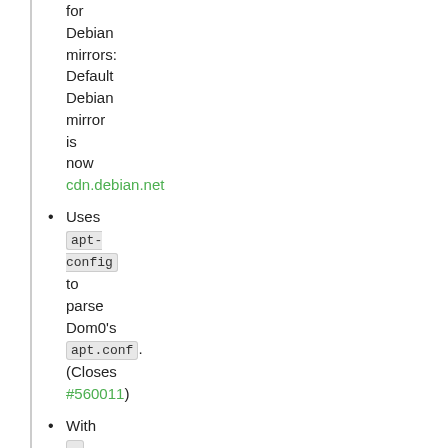for Debian mirrors: Default Debian mirror is now cdn.debian.net
Uses apt-config to parse Dom0's apt.conf. (Closes #560011)
With ---verbose, the output of commands called by xen-tools (e.g.